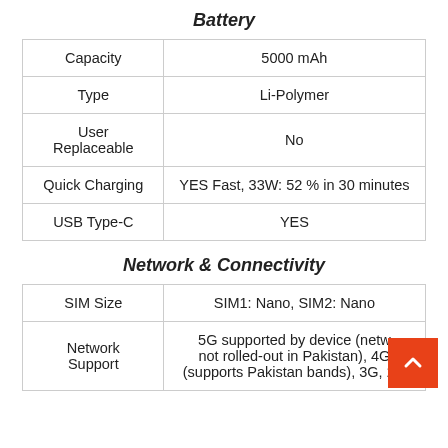Battery
|  |  |
| --- | --- |
| Capacity | 5000 mAh |
| Type | Li-Polymer |
| User Replaceable | No |
| Quick Charging | YES Fast, 33W: 52 % in 30 minutes |
| USB Type-C | YES |
Network & Connectivity
|  |  |
| --- | --- |
| SIM Size | SIM1: Nano, SIM2: Nano |
| Network Support | 5G supported by device (netw not rolled-out in Pakistan), 4G (supports Pakistan bands), 3G, 2G |